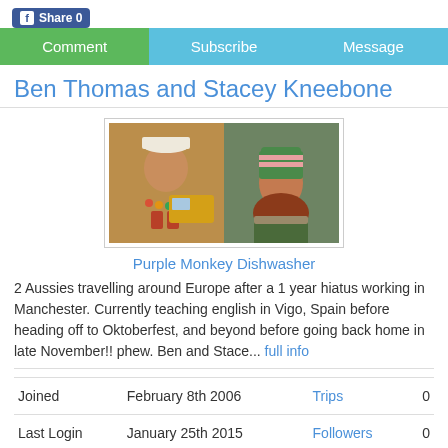[Figure (other): Facebook Share button with count 0]
Comment | Subscribe | Message
Ben Thomas and Stacey Kneebone
[Figure (photo): Two profile photos side by side: a man in tropical lei costume and a woman in a knit hat outdoors]
Purple Monkey Dishwasher
2 Aussies travelling around Europe after a 1 year hiatus working in Manchester. Currently teaching english in Vigo, Spain before heading off to Oktoberfest, and beyond before going back home in late November!! phew. Ben and Stace... full info
|  |  |  |  |
| --- | --- | --- | --- |
| Joined | February 8th 2006 | Trips | 0 |
| Last Login | January 25th 2015 | Followers | 0 |
| Status | BLOGGER | Following |  |